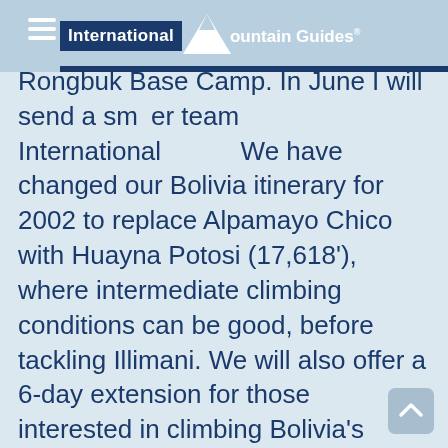International Mountain Guides
Rongbuk Base Camp. In June I will send a smaller team International Mountain Guides. We have changed our Bolivia itinerary for 2002 to replace Alpamayo Chico with Huayna Potosi (17,618'), where intermediate climbing conditions can be good, before tackling Illimani. We will also offer a 6-day extension for those interested in climbing Bolivia's highest peak, Sajama (21,486'), located well off the beaten path. After a summer on Mt. Rainier I'll be sending another team to Cho Oyu in August, marking IMG's 11th consecutive expedition there. Once they are safely back I'll spend the rest of my year at home planning the 2003 programs!